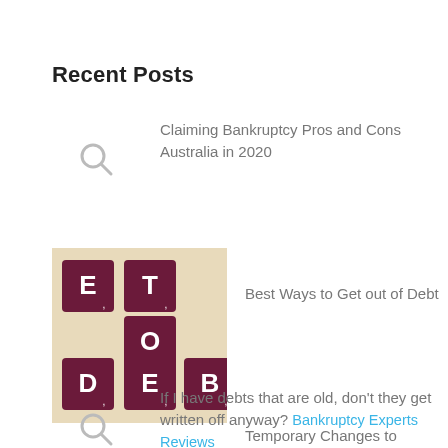Recent Posts
Claiming Bankruptcy Pros and Cons Australia in 2020
[Figure (photo): Scrabble tiles spelling DEBT on a light background]
Best Ways to Get out of Debt
If I have debts that are old, don't they get written off anyway? Bankruptcy Experts Reviews
Temporary Changes to Australian